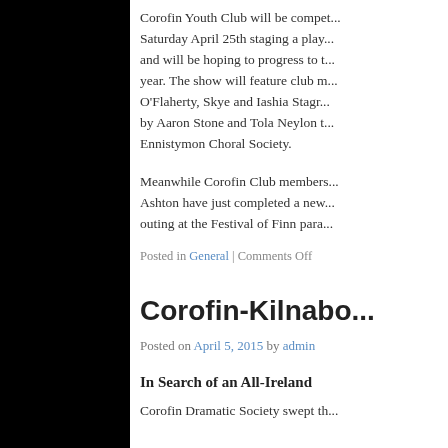Corofin Youth Club will be compet... Saturday April 25th staging a play... and will be hoping to progress to t... year. The show will feature club m... O'Flaherty, Skye and Iashia Stagr... by Aaron Stone and Tola Neylon t... Ennistymon Choral Society.
Meanwhile Corofin Club members... Ashton have just completed a new... outing at the Festival of Finn para...
Posted in General | Comments Off
Corofin-Kilnabo...
Posted on April 5, 2015 by admin
In Search of an All-Ireland
Corofin Dramatic Society swept th...